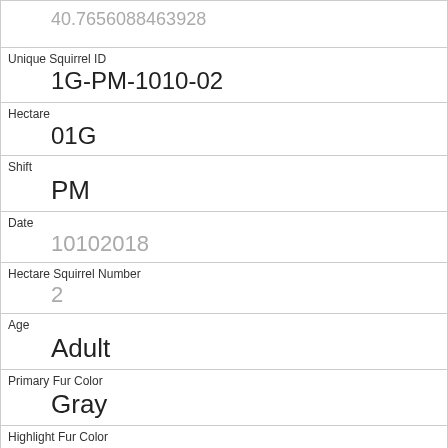| 40.7656088463928 |
| Unique Squirrel ID | 1G-PM-1010-02 |
| Hectare | 01G |
| Shift | PM |
| Date | 10102018 |
| Hectare Squirrel Number | 2 |
| Age | Adult |
| Primary Fur Color | Gray |
| Highlight Fur Color | Cinnamon |
| Combination of Primary and Highlight Color | Gray+Cinnamon |
| Color notes |  |